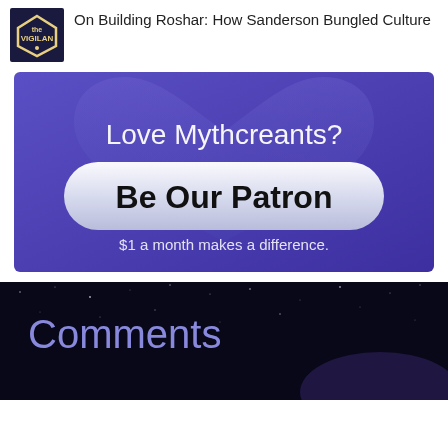On Building Roshar: How Sanderson Bungled Culture
[Figure (illustration): Mythcreants Patreon banner with purple background, heart shape, 'Love Mythcreants?' text, 'Be Our Patron' button, and '$1 a month makes a difference.' tagline]
Comments